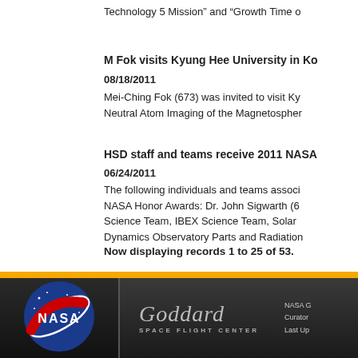Technology 5 Mission” and “Growth Time o
M Fok visits Kyung Hee University in Ko
08/18/2011
Mei-Ching Fok (673) was invited to visit Ky Neutral Atom Imaging of the Magnetospher
HSD staff and teams receive 2011 NASA
06/24/2011
The following individuals and teams associ NASA Honor Awards: Dr. John Sigwarth (6 Science Team, IBEX Science Team, Solar Dynamics Observatory Parts and Radiation
Now displaying records 1 to 25 of 53.
[Figure (logo): NASA meatball logo — blue circle with white NASA text, red chevron swoosh, white stars and orbit line]
[Figure (logo): Goddard Space Flight Center cursive script logo in grey with SPACE FLIGHT CENTER text below]
NASA G Curator Last Up